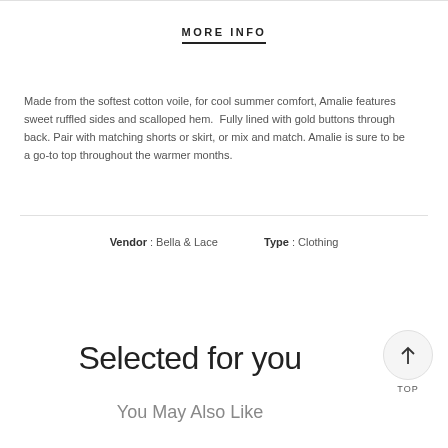MORE INFO
Made from the softest cotton voile, for cool summer comfort, Amalie features sweet ruffled sides and scalloped hem.  Fully lined with gold buttons through back. Pair with matching shorts or skirt, or mix and match. Amalie is sure to be a go-to top throughout the warmer months.
Vendor : Bella & Lace   Type : Clothing
Selected for you
You May Also Like